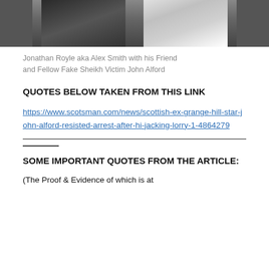[Figure (photo): Cropped photo showing two men, partially visible from shoulder/neck area, one in dark jacket and one in white shirt]
Jonathan Royle aka Alex Smith with his Friend and Fellow Fake Sheikh Victim John Alford
QUOTES BELOW TAKEN FROM THIS LINK
https://www.scotsman.com/news/scottish-ex-grange-hill-star-john-alford-resisted-arrest-after-hi-jacking-lorry-1-4864279
SOME IMPORTANT QUOTES FROM THE ARTICLE:
(The Proof & Evidence of which is at